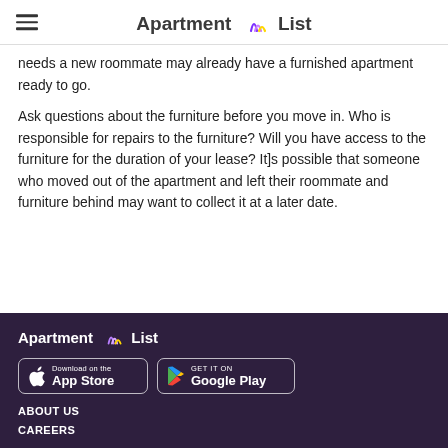Apartment List
needs a new roommate may already have a furnished apartment ready to go.
Ask questions about the furniture before you move in. Who is responsible for repairs to the furniture? Will you have access to the furniture for the duration of your lease? It]s possible that someone who moved out of the apartment and left their roommate and furniture behind may want to collect it at a later date.
Apartment List | Download on the App Store | GET IT ON Google Play | ABOUT US | CAREERS